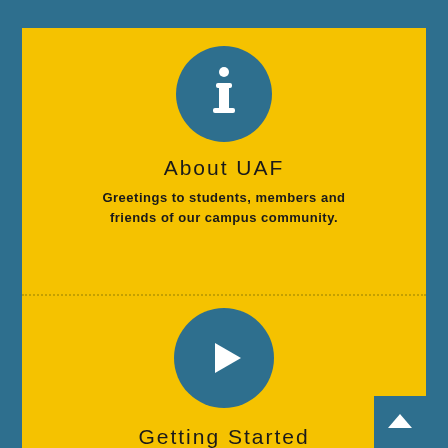[Figure (illustration): Blue circle with white lowercase letter 'i' (information icon)]
About UAF
Greetings to students, members and friends of our campus community.
[Figure (illustration): Blue circle with white play button triangle icon]
Getting Started and Registration